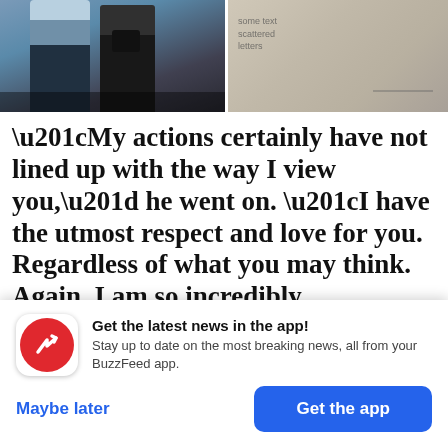[Figure (photo): Two-panel photo strip: left panel shows people walking in urban setting with dark clothing; right panel shows fabric or textile with text/markings.]
“My actions certainly have not lined up with the way I view you,” he went on. “I have the utmost respect and love for you. Regardless of what you may think. Again, I am so incredibly sorry.”
[Figure (screenshot): Partial Instagram logo/text visible in gray background.]
Get the latest news in the app! Stay up to date on the most breaking news, all from your BuzzFeed app.
Maybe later
Get the app